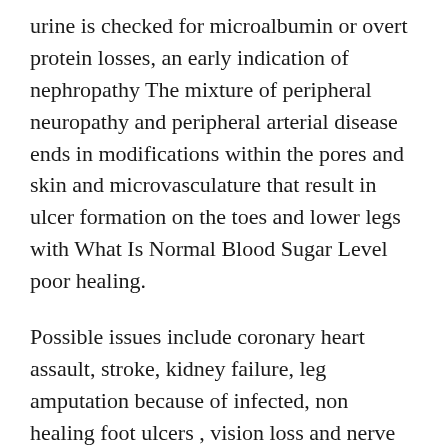urine is checked for microalbumin or overt protein losses, an early indication of nephropathy The mixture of peripheral neuropathy and peripheral arterial disease ends in modifications within the pores and skin and microvasculature that result in ulcer formation on the toes and lower legs with What Is Normal Blood Sugar Level poor healing.
Possible issues include coronary heart assault, stroke, kidney failure, leg amputation because of infected, non healing foot ulcers , vision loss and nerve harm Our Safe at School marketing campaign ensures that the diabetes management needs of students are met so your youngsters are healthy and secure when they are at school By working as Free Printable Blood Sugar Chart a team, households, health care suppliers, and faculty